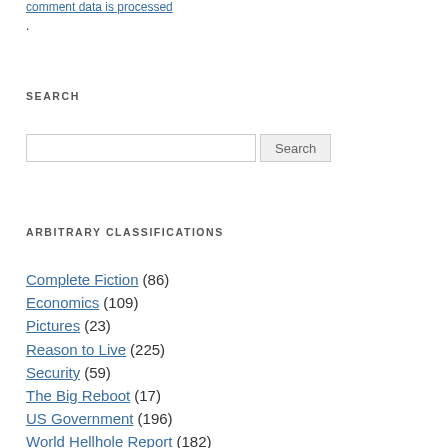comment data is processed.
SEARCH
[Search input box] Search
ARBITRARY CLASSIFICATIONS
Complete Fiction (86)
Economics (109)
Pictures (23)
Reason to Live (225)
Security (59)
The Big Reboot (17)
US Government (196)
World Hellhole Report (182)
Ze Rest of Ze Ztuffm (142)